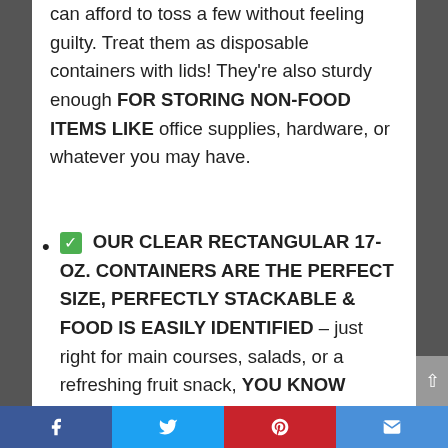can afford to toss a few without feeling guilty. Treat them as disposable containers with lids! They're also sturdy enough FOR STORING NON-FOOD ITEMS LIKE office supplies, hardware, or whatever you may have.
✅ OUR CLEAR RECTANGULAR 17-OZ. CONTAINERS ARE THE PERFECT SIZE, PERFECTLY STACKABLE & FOOD IS EASILY IDENTIFIED – just right for main courses, salads, or a refreshing fruit snack, YOU KNOW EXACTLY WHAT YOU'RE GRABBING WHEN YOU REACH INTO THE